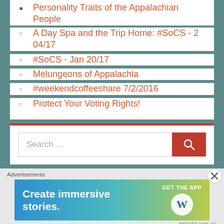Personality Traits of the Appalachian People
A Day Spa and the Trip Home: #SoCS - 2 04/17
#SoCS - Jan 20/17
Melungeons of Appalachia
#weekendcoffeeshare 7/2/2016
Protect Your Voting Rights!
[Figure (screenshot): Search bar widget with orange search button and magnifying glass icon]
[Figure (infographic): WordPress advertisement banner: Create immersive stories. GET THE APP with WordPress logo]